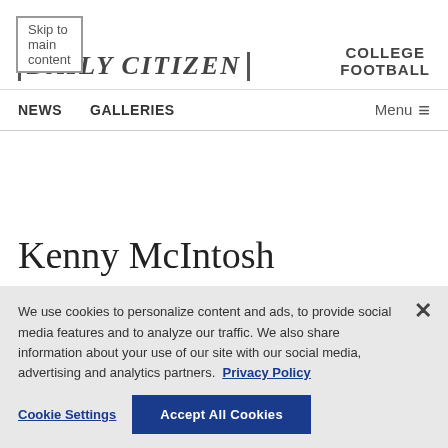Skip to main content
[Figure (logo): The Daily Citizen newspaper logo with 'by' above and stylized text]
COLLEGE FOOTBALL
NEWS   GALLERIES   Menu
Kenny McIntosh
We use cookies to personalize content and ads, to provide social media features and to analyze our traffic. We also share information about your use of our site with our social media, advertising and analytics partners.  Privacy Policy
Cookie Settings   Accept All Cookies